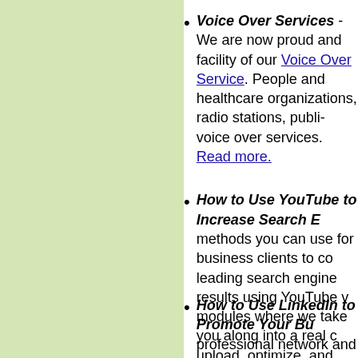Voice Over Services - We are now proud and facility of our Voice Over Service. People and healthcare organizations, radio stations, publishers voice over services. Read more.
How to Use YouTube to Increase Search methods you can use for business clients to co leading search engine results using YouTube modules where we take you along into a real upload, optimize, and rank in Google videos and deliver consistent traffic to your website. individual who wants to know how to leverage time and effort needed to invest that traditional to The Top of Google
[Figure (photo): Small broken/placeholder image icon]
How to Use LinkedIn to Promote Your Business - professional network and is becoming one of the any business. But first, you have to learn how designed to teach you just that. Here is some guide to creating and optimising your persona